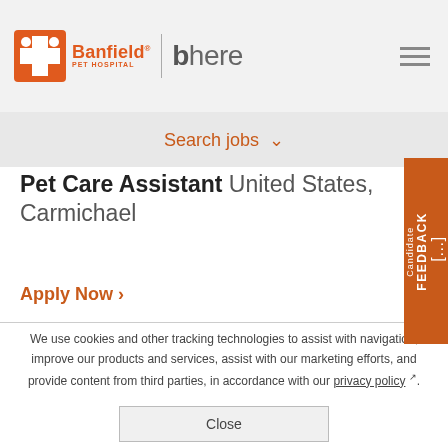Banfield Pet Hospital | bhere
Search jobs
Pet Care Assistant United States, Carmichael
Apply Now >
We use cookies and other tracking technologies to assist with navigation, improve our products and services, assist with our marketing efforts, and provide content from third parties, in accordance with our privacy policy.
Close